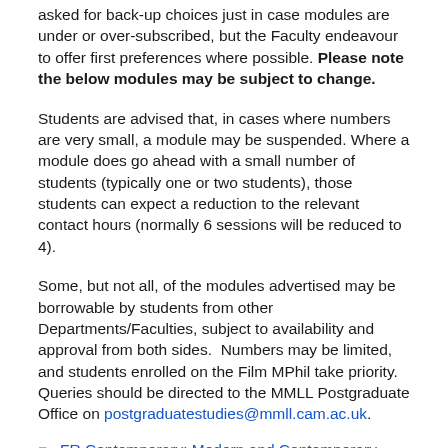asked for back-up choices just in case modules are under or over-subscribed, but the Faculty endeavour to offer first preferences where possible. Please note the below modules may be subject to change.
Students are advised that, in cases where numbers are very small, a module may be suspended. Where a module does go ahead with a small number of students (typically one or two students), those students can expect a reduction to the relevant contact hours (normally 6 sessions will be reduced to 4).
Some, but not all, of the modules advertised may be borrowable by students from other Departments/Faculties, subject to availability and approval from both sides.  Numbers may be limited, and students enrolled on the Film MPhil take priority.  Queries should be directed to the MMLL Postgraduate Office on postgraduatestudies@mmll.cam.ac.uk.
FR Contemporary: Modern and Contemporary French and Francophone Culture: Articulations of the Bod...